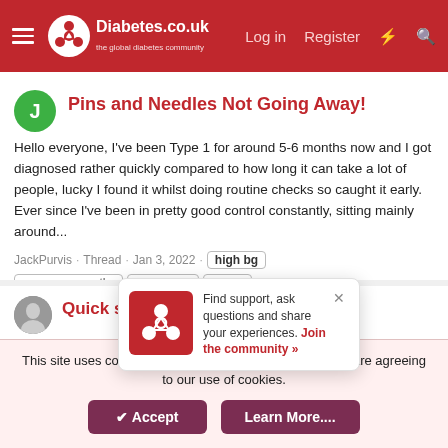[Figure (screenshot): Diabetes.co.uk website header with logo, hamburger menu, Log in, Register, and icon buttons on red background]
Pins and Needles Not Going Away!
Hello everyone, I've been Type 1 for around 5-6 months now and I got diagnosed rather quickly compared to how long it can take a lot of people, lucky I found it whilst doing routine checks so caught it early. Ever since I've been in pretty good control constantly, sitting mainly around...
JackPurvis · Thread · Jan 3, 2022 · high bg · nerve neuropathy · nerve pain · type 1 · Replies: 2 · Forum: Type 1 Diabetes
Quick sol... b...
Hi everyone I'... trying to get a hand on my diabetes properly for the last couple of months, for the most part i've succeeded. Until recently :( over the last week i'm struggling
Find support, ask questions and share your experiences. Join the community »
This site uses cookies. By continuing to use this site, you are agreeing to our use of cookies.
✔ Accept   Learn More....